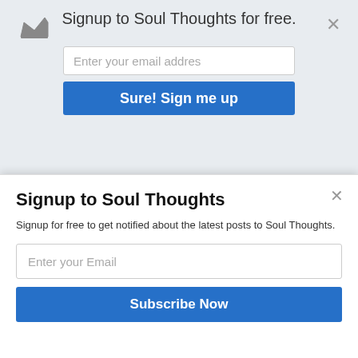Signup to Soul Thoughts for free.
Enter your email addres
Sure! Sign me up
[Figure (photo): Book cover: Running Up the White Flag - Surrender as the Way to Follow Jesus, blue cover with partial photo of a person]
Running Up the White Flag
Surrender as the Way to Follow Jesus
[Figure (photo): Red background image with handwritten text 'for you' and a silhouette figure]
for you
Loneliness kills more people than Ebola ever will
How love transforms pain
Signup to Soul Thoughts
Signup for free to get notified about the latest posts to Soul Thoughts.
Enter your Email
Subscribe Now